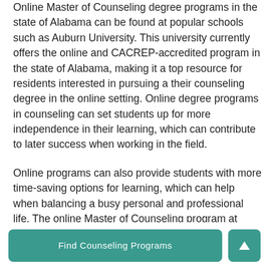Online Master of Counseling degree programs in the state of Alabama can be found at popular schools such as Auburn University. This university currently offers the online and CACREP-accredited program in the state of Alabama, making it a top resource for residents interested in pursuing a their counseling degree in the online setting. Online degree programs in counseling can set students up for more independence in their learning, which can contribute to later success when working in the field.

Online programs can also provide students with more time-saving options for learning, which can help when balancing a busy personal and professional life. The online Master of Counseling program at Auburn University features a specialization in Clinical Rehabilitation Counseling, which would be an incredible program for residents interested in assisting
[Figure (other): A teal/green 'Find Counseling Programs' button and a teal square up-arrow button in the bottom navigation bar]